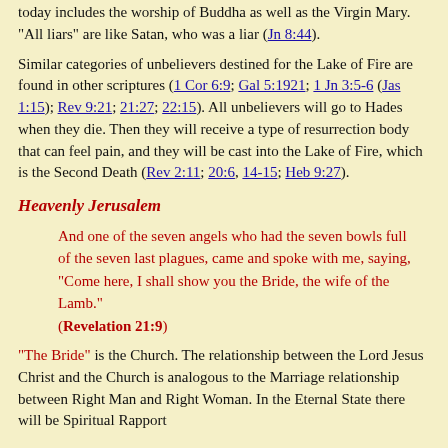today includes the worship of Buddha as well as the Virgin Mary.  "All liars" are like Satan, who was a liar (Jn 8:44).
Similar categories of unbelievers destined for the Lake of Fire are found in other scriptures (1 Cor 6:9; Gal 5:1921; 1 Jn 3:5-6 (Jas 1:15); Rev 9:21; 21:27; 22:15).  All unbelievers will go to Hades when they die.  Then they will receive a type of resurrection body that can feel pain, and they will be cast into the Lake of Fire, which is the Second Death (Rev 2:11; 20:6, 14-15; Heb 9:27).
Heavenly Jerusalem
And one of the seven angels who had the seven bowls full of the seven last plagues, came and spoke with me, saying, “Come here, I shall show you the Bride, the wife of the Lamb.” (Revelation 21:9)
"The Bride" is the Church.  The relationship between the Lord Jesus Christ and the Church is analogous to the Marriage relationship between Right Man and Right Woman.  In the Eternal State there will be Spiritual Rapport